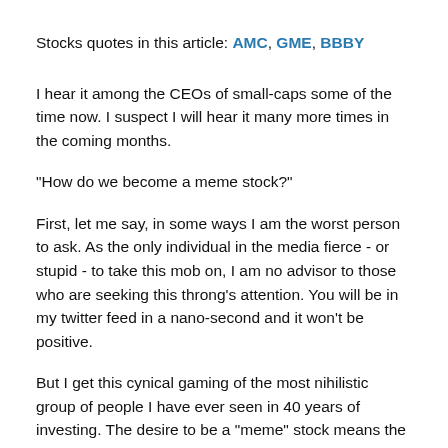Stocks quotes in this article: AMC, GME, BBBY
I hear it among the CEOs of small-caps some of the time now. I suspect I will hear it many more times in the coming months.
"How do we become a meme stock?"
First, let me say, in some ways I am the worst person to ask. As the only individual in the media fierce - or stupid - to take this mob on, I am no advisor to those who are seeking this throng's attention. You will be in my twitter feed in a nano-second and it won't be positive.
But I get this cynical gaming of the most nihilistic group of people I have ever seen in 40 years of investing. The desire to be a "meme" stock means the desire to have your stock bid up by Reddit followers with the hope that you can